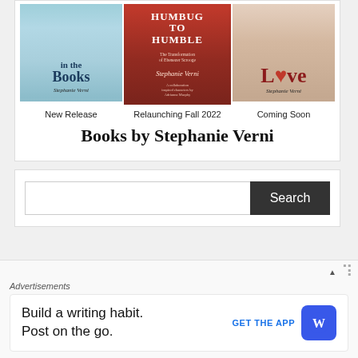[Figure (illustration): Three book covers side by side: left is a blue bookstore-themed cover titled 'Books' by Stephanie Verni (New Release), middle is a red Christmas cover 'Humbug to Humble' by Stephanie Verni (Relaunching Fall 2022), right is a pink silhouette cover by Stephanie Verni (Coming Soon).]
New Release   Relaunching Fall 2022   Coming Soon
Books by Stephanie Verni
[Figure (screenshot): Search bar with text input field and dark Search button]
Advertisements
Build a writing habit. Post on the go.
GET THE APP